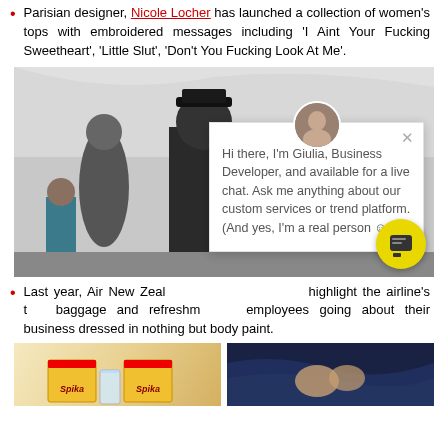Parisian designer, Nicole Locher has launched a collection of women's tops with embroidered messages including 'I Aint Your Fucking Sweetheart', 'Little Slut', 'Don't You Fucking Look At Me'.
[Figure (photo): Photo of airline crew members/pilots seen from behind, wearing dark uniforms and caps, in an airport setting. A chat popup overlay is shown with avatar, close button, and text from 'Giulia, Business Developer' offering live chat. A yellow chat button is visible at bottom right.]
Last year, Air New Zealand ran a campaign to highlight the airline'sту baggage and refreshm... employees going about their business dressed in nothing but body paint.
[Figure (photo): Bottom-left: two yellow Spika boxes with a glass between them on a light background. Bottom-right: dark photo with hands on blue satin fabric.]